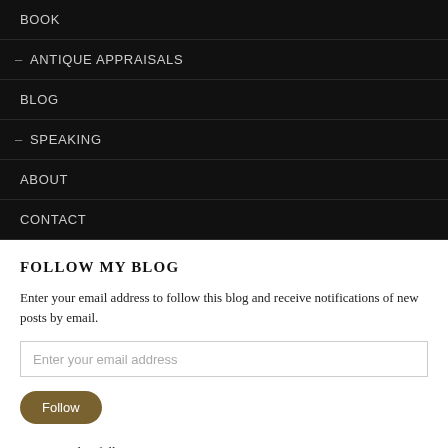BOOK
ANTIQUE APPRAISALS
BLOG
SPEAKING
ABOUT
CONTACT
FOLLOW MY BLOG
Enter your email address to follow this blog and receive notifications of new posts by email.
Enter your email address
Follow
Join 298 other followers